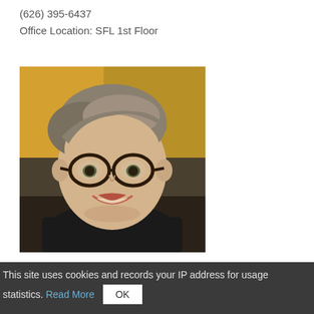(626) 395-6437
Office Location: SFL 1st Floor
[Figure (photo): Portrait photo of a woman with short grey-brown hair and round dark-framed glasses, smiling, wearing a dark top, with a blurred colorful background.]
This site uses cookies and records your IP address for usage statistics. Read More  OK